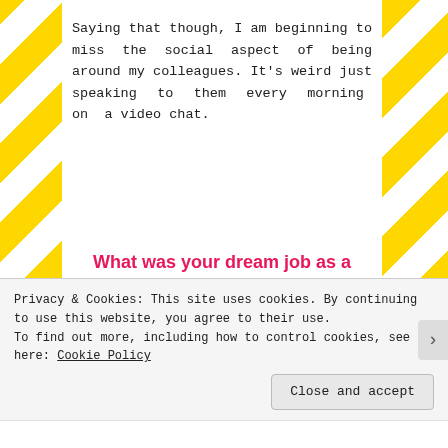Saying that though, I am beginning to miss the social aspect of being around my colleagues. It's weird just speaking to them every morning on a video chat.
What was your dream job as a child and why?
Growing up, I always told people I wanted to find a job which allowed me to write. I loved it. For some reason
Privacy & Cookies: This site uses cookies. By continuing to use this website, you agree to their use.
To find out more, including how to control cookies, see here: Cookie Policy